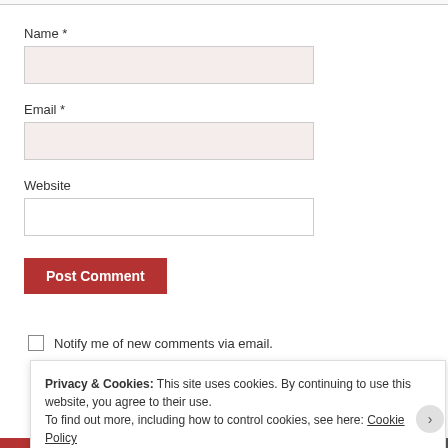Name *
[Figure (screenshot): Input field for Name, pink/light red background]
Email *
[Figure (screenshot): Input field for Email, pink/light red background]
Website
[Figure (screenshot): Input field for Website, white background]
[Figure (screenshot): Post Comment button, dark red background]
Notify me of new comments via email.
Privacy & Cookies: This site uses cookies. By continuing to use this website, you agree to their use.
To find out more, including how to control cookies, see here: Cookie Policy
Close and accept